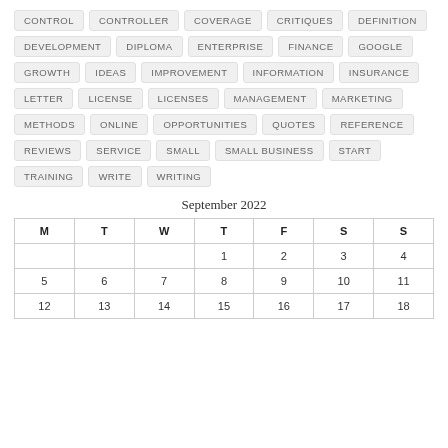CONTROL CONTROLLER COVERAGE CRITIQUES DEFINITION DEVELOPMENT DIPLOMA ENTERPRISE FINANCE GOOGLE GROWTH IDEAS IMPROVEMENT INFORMATION INSURANCE LETTER LICENSE LICENSES MANAGEMENT MARKETING METHODS ONLINE OPPORTUNITIES QUOTES REFERENCE REVIEWS SERVICE SMALL SMALL BUSINESS START TRAINING WRITE WRITING
September 2022
| M | T | W | T | F | S | S |
| --- | --- | --- | --- | --- | --- | --- |
|  |  |  | 1 | 2 | 3 | 4 |
| 5 | 6 | 7 | 8 | 9 | 10 | 11 |
| 12 | 13 | 14 | 15 | 16 | 17 | 18 |